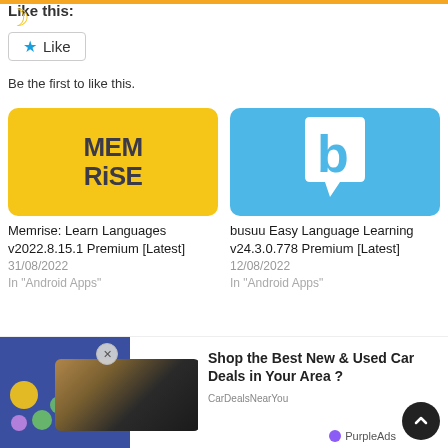Like this:
Be the first to like this.
[Figure (logo): Memrise app logo - yellow background with dark text MEM RiSE]
Memrise: Learn Languages v2022.8.15.1 Premium [Latest]
31/08/2022
In "Android Apps"
[Figure (logo): busuu app logo - blue speech bubble with white letter b]
busuu Easy Language Learning v24.3.0.778 Premium [Latest]
12/08/2022
In "Android Apps"
[Figure (infographic): Advertisement: Shop the Best New & Used Car Deals in Your Area? by CarDealsNearYou, PurpleAds]